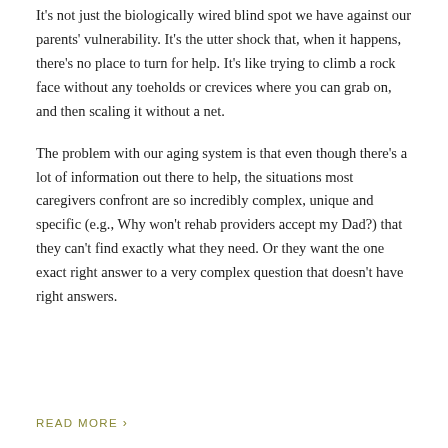It's not just the biologically wired blind spot we have against our parents' vulnerability. It's the utter shock that, when it happens, there's no place to turn for help. It's like trying to climb a rock face without any toeholds or crevices where you can grab on, and then scaling it without a net.
The problem with our aging system is that even though there's a lot of information out there to help, the situations most caregivers confront are so incredibly complex, unique and specific (e.g., Why won't rehab providers accept my Dad?) that they can't find exactly what they need. Or they want the one exact right answer to a very complex question that doesn't have right answers.
READ MORE ›